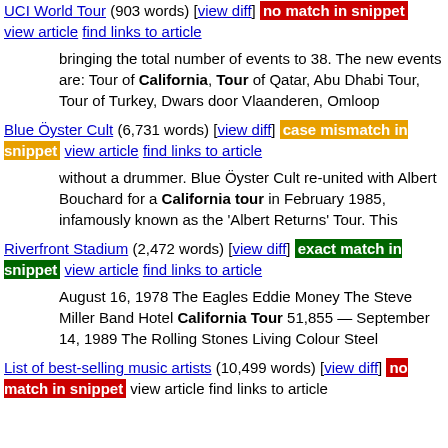UCI World Tour (903 words) [view diff] no match in snippet view article find links to article
bringing the total number of events to 38. The new events are: Tour of California, Tour of Qatar, Abu Dhabi Tour, Tour of Turkey, Dwars door Vlaanderen, Omloop
Blue Öyster Cult (6,731 words) [view diff] case mismatch in snippet view article find links to article
without a drummer. Blue Öyster Cult re-united with Albert Bouchard for a California tour in February 1985, infamously known as the 'Albert Returns' Tour. This
Riverfront Stadium (2,472 words) [view diff] exact match in snippet view article find links to article
August 16, 1978 The Eagles Eddie Money The Steve Miller Band Hotel California Tour 51,855 — September 14, 1989 The Rolling Stones Living Colour Steel
List of best-selling music artists (10,499 words) [view diff] no match in snippet view article find links to article